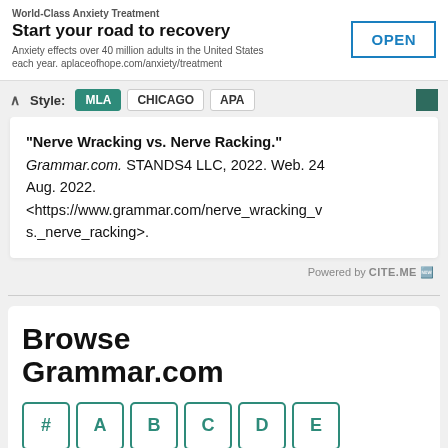[Figure (screenshot): Advertisement banner: 'Start your road to recovery' with OPEN button for anxiety treatment]
Style: MLA CHICAGO APA
"Nerve Wracking vs. Nerve Racking." Grammar.com. STANDS4 LLC, 2022. Web. 24 Aug. 2022. <https://www.grammar.com/nerve_wracking_vs._nerve_racking>.
Powered by CITE.ME
Browse Grammar.com
# A B C D E